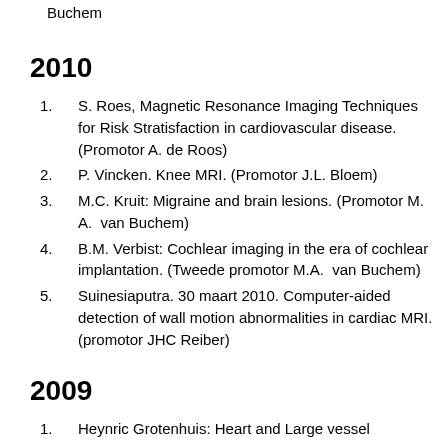Buchem
2010
S. Roes, Magnetic Resonance Imaging Techniques for Risk Stratisfaction in cardiovascular disease. (Promotor A. de Roos)
P. Vincken. Knee MRI. (Promotor J.L. Bloem)
M.C. Kruit: Migraine and brain lesions. (Promotor M. A. van Buchem)
B.M. Verbist: Cochlear imaging in the era of cochlear implantation. (Tweede promotor M.A. van Buchem)
Suinesiaputra. 30 maart 2010. Computer-aided detection of wall motion abnormalities in cardiac MRI. (promotor JHC Reiber)
2009
Heynric Grotenhuis: Heart and Large vessel